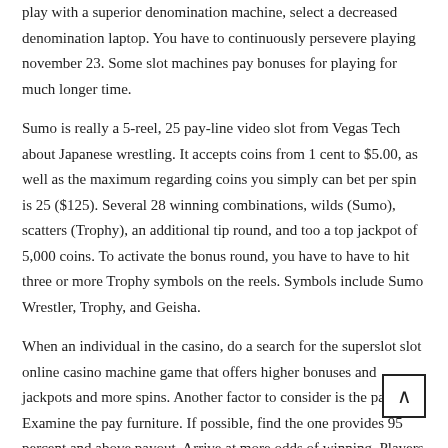play with a superior denomination machine, select a decreased denomination laptop. You have to continuously persevere playing november 23. Some slot machines pay bonuses for playing for much longer time.
Sumo is really a 5-reel, 25 pay-line video slot from Vegas Tech about Japanese wrestling. It accepts coins from 1 cent to $5.00, as well as the maximum regarding coins you simply can bet per spin is 25 ($125). Several 28 winning combinations, wilds (Sumo), scatters (Trophy), an additional tip round, and too a top jackpot of 5,000 coins. To activate the bonus round, you have to have to hit three or more Trophy symbols on the reels. Symbols include Sumo Wrestler, Trophy, and Geisha.
When an individual in the casino, do a search for the superslot slot online casino machine game that offers higher bonuses and jackpots and more spins. Another factor to consider is the payout. Examine the pay furniture. If possible, find the one provides 95 percent and above payout. Arrive at more odds of winning. Players may also opt for newly opened casinos or sl... machines as these offer more bonuses and bigger jackpots for their vi...